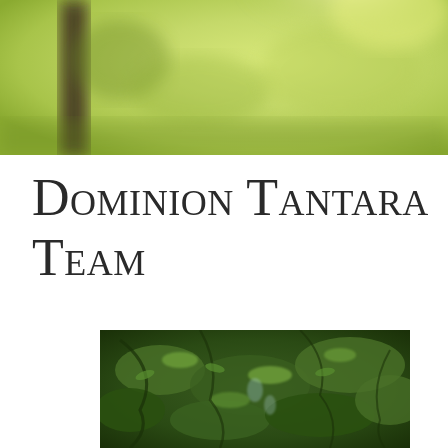[Figure (photo): Blurred outdoor nature photo showing green and yellow tones with a dark vertical post/tree trunk on the left, soft bokeh background suggesting a vineyard or garden in sunlight]
Dominion Tantara Team
[Figure (photo): Close-up photo of dense green foliage, dark green leafy branches with small leaves, possibly olive tree or similar shrub, partially wet or glistening]